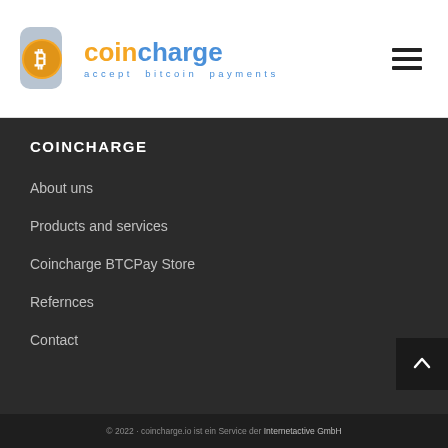[Figure (logo): Coincharge logo with bitcoin icon, text 'coincharge' in orange and blue, tagline 'accept bitcoin payments']
COINCHARGE
About uns
Products and services
Coincharge BTCPay Store
Refernces
Contact
© 2022 · coincharge.io ist ein Service der Internetactive GmbH